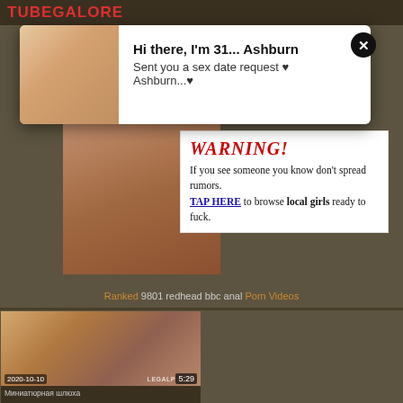TUBEGALORE
[Figure (screenshot): Popup ad with photo of blonde woman and text: Hi there, I'm 31... Ashburn. Sent you a sex date request ♥ Ashburn...♥]
[Figure (photo): Background adult content thumbnail]
[Figure (screenshot): Warning box: WARNING! If you see someone you know don't spread rumors. TAP HERE to browse local girls ready to fuck.]
Ranked 9801 redhead bbc anal Porn Videos
[Figure (photo): Video thumbnail dated 2020-10-10, duration 5:29, watermark LEGALP]
Миниатюрная шлюха
[Figure (photo): Video thumbnail dated 2020-10-10, duration 8:00, watermark CRUSHA]
College all sex first time Worlds Greatest